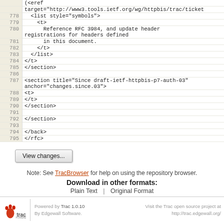[Figure (screenshot): Code viewer showing XML/RFC source lines 778-795 with line numbers on the left in a beige column and code on the right]
View changes...
Note: See TracBrowser for help on using the repository browser.
Download in other formats:
Plain Text | Original Format
Powered by Trac 1.0.10 By Edgewall Software. Visit the Trac open source project at http://trac.edgewall.org/